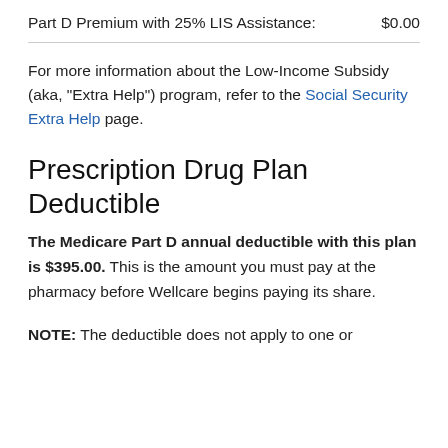Part D Premium with 25% LIS Assistance:    $0.00
For more information about the Low-Income Subsidy (aka, "Extra Help") program, refer to the Social Security Extra Help page.
Prescription Drug Plan Deductible
The Medicare Part D annual deductible with this plan is $395.00. This is the amount you must pay at the pharmacy before Wellcare begins paying its share.
NOTE: The deductible does not apply to one or